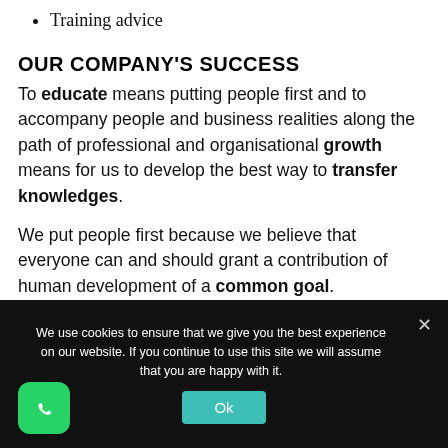Training advice
OUR COMPANY'S SUCCESS
To educate means putting people first and to accompany people and business realities along the path of professional and organisational growth means for us to develop the best way to transfer knowledges.
We put people first because we believe that everyone can and should grant a contribution of human development of a common goal.
We use cookies to ensure that we give you the best experience on our website. If you continue to use this site we will assume that you are happy with it.